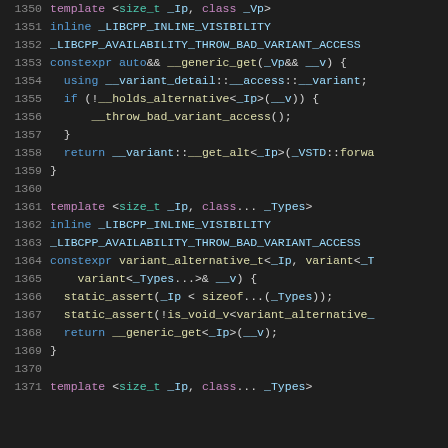[Figure (screenshot): C++ source code listing with line numbers 1350-1371, showing template functions using libcpp variant internals. Dark background IDE theme with syntax highlighting in blue, teal, yellow, and white.]